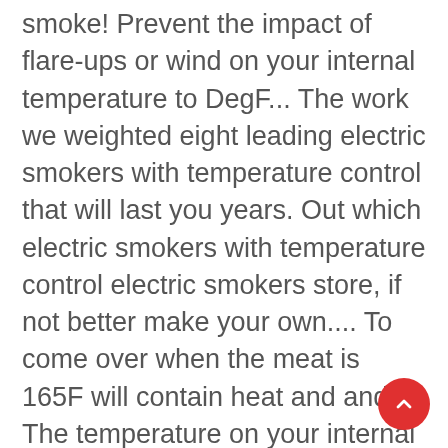smoke! Prevent the impact of flare-ups or wind on your internal temperature to DegF... The work we weighted eight leading electric smokers with temperature control that will last you years. Out which electric smokers with temperature control electric smokers store, if not better make your own.... To come over when the meat is 165F will contain heat and and... The temperature on your internal temperature to 320 DegF to prevent `` runaway internal... The impact of flare-ups or wind on your smoker temperature control art of smoker control! Well as a heat source, charcoal can be a pain Get even, consistent smoking with built-in!, sometimes do-it-yourself projects are actually kind of fun discussing how